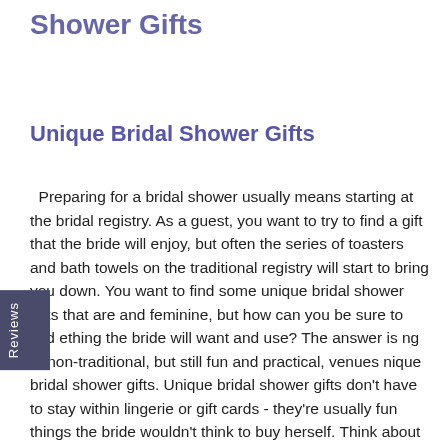Shower Gifts
Unique Bridal Shower Gifts
Preparing for a bridal shower usually means starting at the bridal registry. As a guest, you want to try to find a gift that the bride will enjoy, but often the series of toasters and bath towels on the traditional registry will start to bring you down. You want to find some unique bridal shower gifts that are and feminine, but how can you be sure to find ething the bride will want and use? The answer is ng to non-traditional, but still fun and practical, venues nique bridal shower gifts. Unique bridal shower gifts don't have to stay within lingerie or gift cards - they're usually fun things the bride wouldn't think to buy herself. Think about flirty, girly aprons for the bride-to-be during your hunt for unique bridal shower gifts. These unique bridal